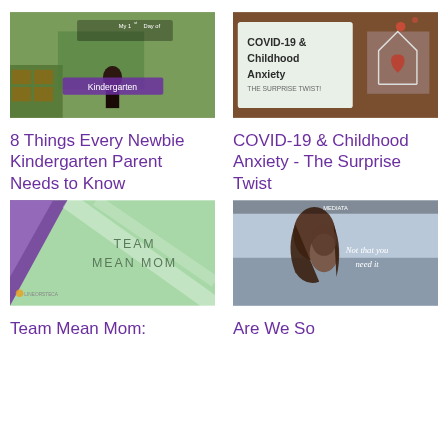[Figure (photo): Classroom scene with child in kindergarten, text overlay 'My 1st Day of Kindergarten']
[Figure (photo): COVID-19 & Childhood Anxiety - The Surprise Twist! book/card with house string art]
8 Things Every Newbie Kindergarten Parent Needs to Know
COVID-19 & Childhood Anxiety - The Surprise Twist
[Figure (photo): Team Mean Mom graphic with green and purple background]
[Figure (photo): Mother and child hugging from behind, text overlay 'Not that you need it']
Team Mean Mom:
Are We So